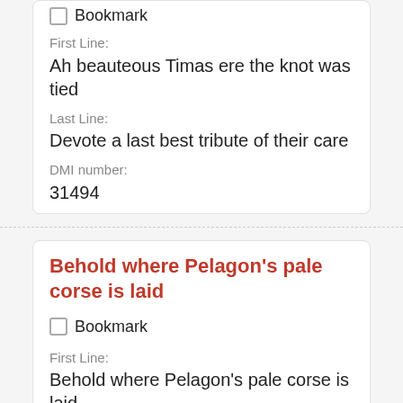First Line:
Ah beauteous Timas ere the knot was tied
Last Line:
Devote a last best tribute of their care
DMI number:
31494
Behold where Pelagon's pale corse is laid
Bookmark
First Line:
Behold where Pelagon's pale corse is laid
Last Line:
Signs of the toilsome life his offspring led
DMI number: